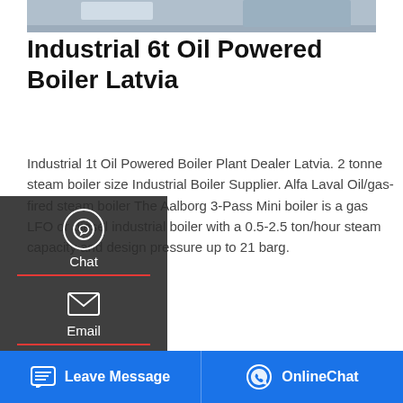[Figure (photo): Top portion of industrial boiler equipment photograph]
Industrial 6t Oil Powered Boiler Latvia
Industrial 1t Oil Powered Boiler Plant Dealer Latvia. 2 tonne steam boiler size Industrial Boiler Supplier. Alfa Laval Oil/gas-fired steam boiler The Aalborg 3-Pass Mini boiler is a gas LFO or diesel industrial boiler with a 0.5-2.5 ton/hour steam capacity and design pressure up to 21 barg.
[Figure (screenshot): Side panel overlay with Chat, Email, and Contact options on dark background]
[Figure (other): Get a Quote yellow button]
[Figure (photo): Bottom image strip: WhatsApp stickers promo on purple gradient left, industrial facility photo on right]
Leave Message   OnlineChat